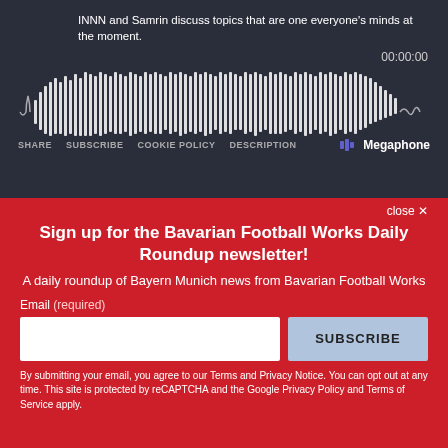INNN and Samrin discuss topics that are one everyone's minds at the moment.
00:00:00
[Figure (other): Audio waveform visualization — white vertical bars of varying heights on dark background representing audio waveform]
SHARE   SUBSCRIBE   COOKIE POLICY   DESCRIPTION      Megaphone
close ✕
Sign up for the Bavarian Football Works Daily Roundup newsletter!
A daily roundup of Bayern Munich news from Bavarian Football Works
Email (required)
SUBSCRIBE
By submitting your email, you agree to our Terms and Privacy Notice. You can opt out at any time. This site is protected by reCAPTCHA and the Google Privacy Policy and Terms of Service apply.